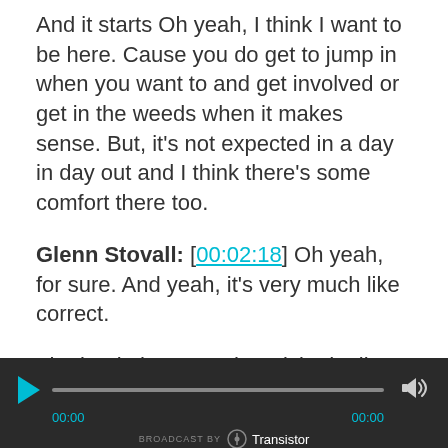And it starts Oh yeah, I think I want to be here. Cause you do get to jump in when you want to and get involved or get in the weeds when it makes sense. But, it's not expected in a day in day out and I think there's some comfort there too.
Glenn Stovall: [00:02:18] Oh yeah, for sure. And yeah, it's very much like correct.
The book that E-Myth revisited talks about, that how, if you are ever someone who bakes pies and you want to open a bakery, you'll spend so
[Figure (other): Audio player bar with dark background, play button (cyan triangle), progress bar, volume icon, timecodes 00:00 on both sides, and 'BROADCAST BY Transistor' branding at the bottom.]